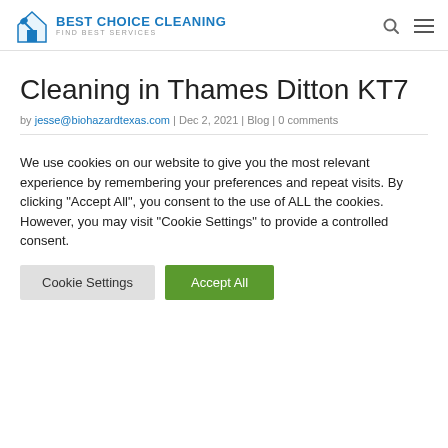BEST CHOICE CLEANING FIND BEST SERVICES
Cleaning in Thames Ditton KT7
by jesse@biohazardtexas.com | Dec 2, 2021 | Blog | 0 comments
We use cookies on our website to give you the most relevant experience by remembering your preferences and repeat visits. By clicking "Accept All", you consent to the use of ALL the cookies. However, you may visit "Cookie Settings" to provide a controlled consent.
Cookie Settings | Accept All